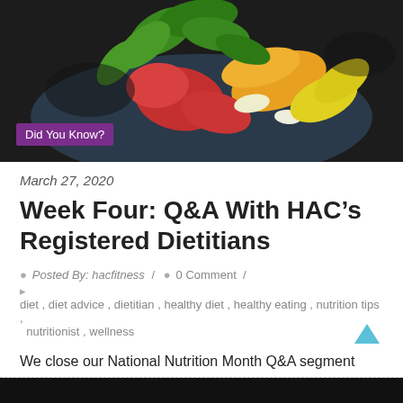[Figure (photo): Food photo showing a bowl of colorful salad with peppers, tomatoes, and green basil leaves on a dark background. A purple 'Did You Know?' label is overlaid at the bottom left.]
March 27, 2020
Week Four: Q&A With HAC's Registered Dietitians
Posted By: hacfitness / 0 Comment /
diet, diet advice, dietitian, healthy diet, healthy eating, nutrition tips, nutritionist, wellness
We close our National Nutrition Month Q&A segment with Jeannie & Ashley's best advice to those looking to lead a healthy lifestyle.